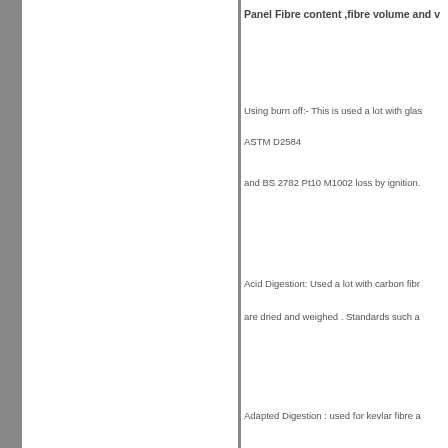Panel Fibre content ,fibre volume and v
Using burn off:- This is used a lot with glas
ASTM D2584
and BS 2782 Pt10 M1002 loss by ignition.
Acid Digestion: Used a lot with carbon fibr
are dried and weighed . Standards such a
Adapted Digestion : used for kevlar fibre a